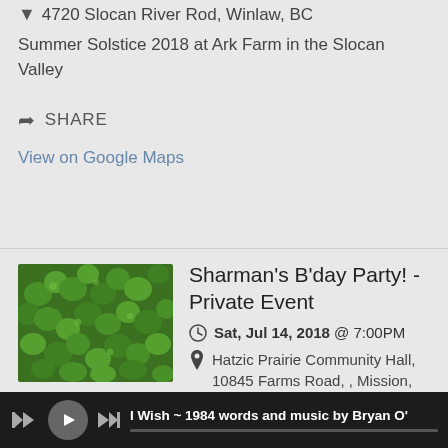4720 Slocan River Rod, Winlaw, BC
Summer Solstice 2018 at Ark Farm in the Slocan Valley
SHARE
View on Google Maps
[Figure (photo): Green clover/foliage photo thumbnail for Sharman's B'day Party event]
Sharman's B'day Party! - Private Event
Sat, Jul 14, 2018 @ 7:00PM
Hatzic Prairie Community Hall, 10845 Farms Road, , Mission, BC V2V 4J1
Private event. Contact me for info. You may be invited. :)
I Wish ~ 1984 words and music by Bryan O'